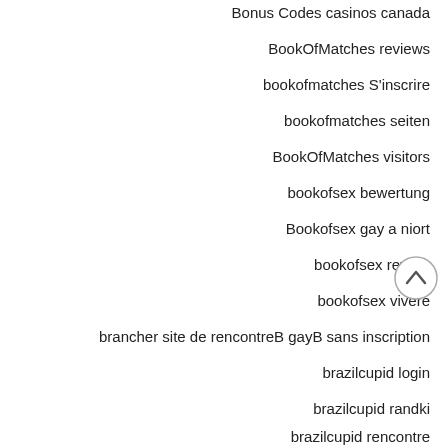Bonus Codes casinos canada
BookOfMatches reviews
bookofmatches S'inscrire
bookofmatches seiten
BookOfMatches visitors
bookofsex bewertung
Bookofsex gay a niort
bookofsex review
bookofsex vivere
brancher site de rencontreB gayB sans inscription
brazilcupid login
brazilcupid randki
brazilcupid rencontre